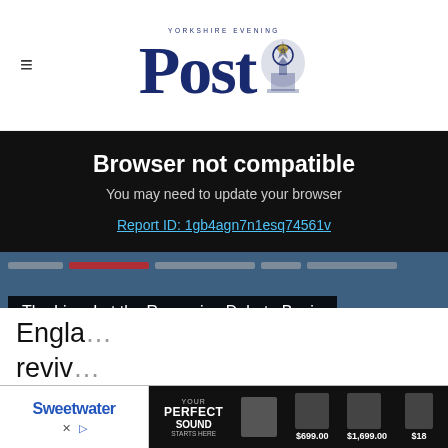Yorkshire Evening Post
Browser not compatible
You may need to update your browser
Report ID: 1gb4agn7n1esq74561v
[Figure (screenshot): Article image with horizontal strips and headline bar reading 'The Line: Let the Recession Debate Begin']
Boris Johnson is expected to make an announcement next week on pubs, cafes, restaurants and hotels - with their reopening in Engla... reviv...
[Figure (other): Sweetwater advertisement banner with 'Your Perfect Sound Starts Here' and product prices $699.00, $1,699.00, $18...]